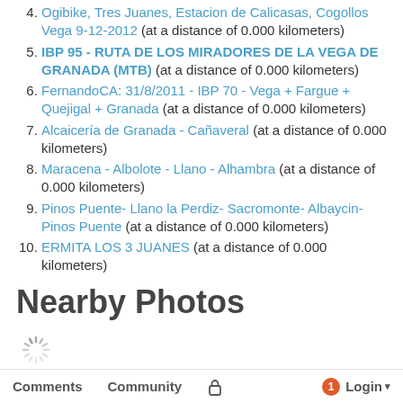Ogibike, Tres Juanes, Estacion de Calicasas, Cogollos Vega 9-12-2012 (at a distance of 0.000 kilometers)
IBP 95 - RUTA DE LOS MIRADORES DE LA VEGA DE GRANADA (MTB) (at a distance of 0.000 kilometers)
FernandoCA: 31/8/2011 - IBP 70 - Vega + Fargue + Quejigal + Granada (at a distance of 0.000 kilometers)
Alcaicería de Granada - Cañaveral (at a distance of 0.000 kilometers)
Maracena - Albolote - Llano - Alhambra (at a distance of 0.000 kilometers)
Pinos Puente- Llano la Perdiz- Sacromonte- Albaycin-Pinos Puente (at a distance of 0.000 kilometers)
ERMITA LOS 3 JUANES (at a distance of 0.000 kilometers)
Nearby Photos
[Figure (other): Loading spinner icon]
Comment !
Comments  Community  [lock]  1  Login